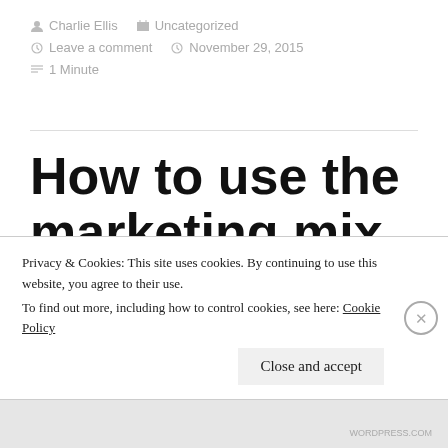Charlie Ellis   Uncategorized   Leave a comment   November 29, 2015   1 Minute
How to use the marketing mix to advertise a service online
Privacy & Cookies: This site uses cookies. By continuing to use this website, you agree to their use. To find out more, including how to control cookies, see here: Cookie Policy
Close and accept